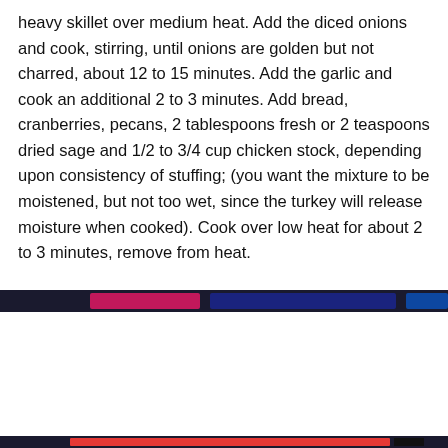heavy skillet over medium heat. Add the diced onions and cook, stirring, until onions are golden but not charred, about 12 to 15 minutes. Add the garlic and cook an additional 2 to 3 minutes. Add bread, cranberries, pecans, 2 tablespoons fresh or 2 teaspoons dried sage and 1/2 to 3/4 cup chicken stock, depending upon consistency of stuffing; (you want the mixture to be moistened, but not too wet, since the turkey will release moisture when cooked). Cook over low heat for about 2 to 3 minutes, remove from heat.
[Figure (screenshot): Cookie consent banner overlay with privacy notice and Close and accept button]